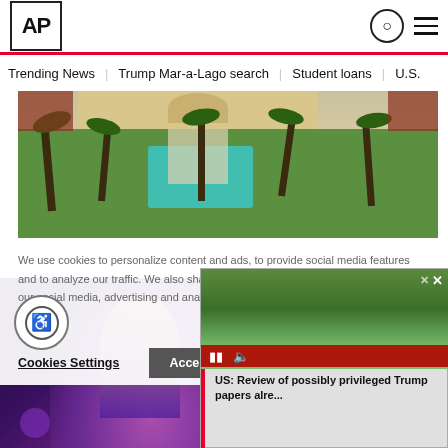AP
Trending News   Trump Mar-a-Lago search   Student loans   U.S...
[Figure (photo): Aerial view of Mar-a-Lago estate showing pool, palm trees, and buildings]
We use cookies to personalize content and ads, to provide social media features and to analyze our traffic. We also share information about your use of our site with our social media, advertising and analytics partners.
Privacy Policy
Cookies Settings
Accept All
[Figure (photo): Background photo of a performer on stage with purple lighting]
[Figure (screenshot): Video popup showing aerial view of Mar-a-Lago with caption: US: Review of possibly privileged Trump papers alre...]